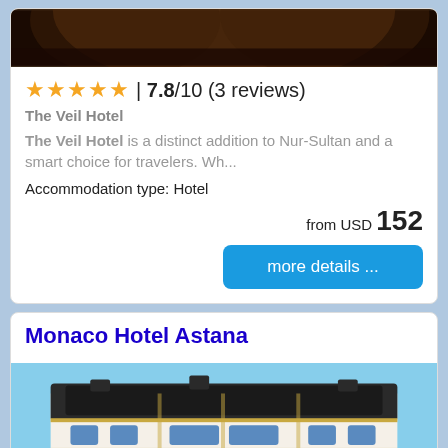[Figure (photo): Top portion of The Veil Hotel interior photo showing dark wooden arched ceiling]
★★★★★ | 7.8/10 (3 reviews)
The Veil Hotel
The Veil Hotel is a distinct addition to Nur-Sultan and a smart choice for travelers. Wh...
Accommodation type: Hotel
from USD 152
more details ...
Monaco Hotel Astana
[Figure (photo): Exterior photo of Monaco Hotel Astana building with white classical facade and blue glass windows against blue sky]